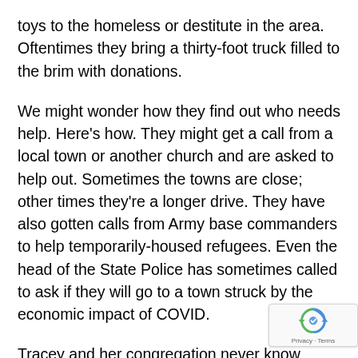toys to the homeless or destitute in the area. Oftentimes they bring a thirty-foot truck filled to the brim with donations.
We might wonder how they find out who needs help. Here's how. They might get a call from a local town or another church and are asked to help out. Sometimes the towns are close; other times they're a longer drive. They have also gotten calls from Army base commanders to help temporarily-housed refugees. Even the head of the State Police has sometimes called to ask if they will go to a town struck by the economic impact of COVID.
Tracey and her congregation never know when they will get a call or what they will be asked to do. It just happens. As such, they are constantly given clothing from donors and sorting out the best garments from